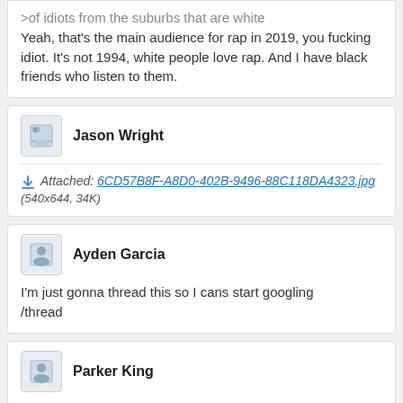>of idiots from the suburbs that are white Yeah, that's the main audience for rap in 2019, you fucking idiot. It's not 1994, white people love rap. And I have black friends who listen to them.
Jason Wright
Attached: 6CD57B8F-A8D0-402B-9496-88C118DA4323.jpg (540x644, 34K)
Ayden Garcia
I'm just gonna thread this so I cans start googling /thread
Parker King
ok